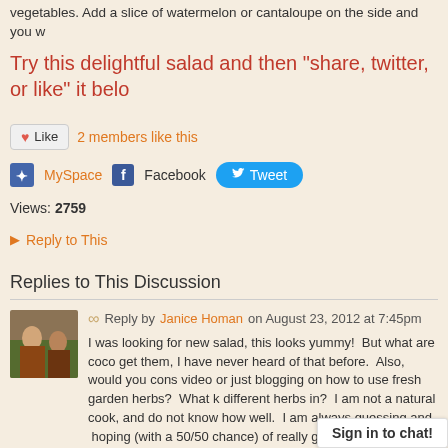vegetables. Add a slice of watermelon or cantaloupe on the side and you w
Try this delightful salad and then "share, twitter, or like" it belo
Like  2 members like this
MySpace  Facebook  Tweet
Views: 2759
▶ Reply to This
Replies to This Discussion
Reply by Janice Homan on August 23, 2012 at 7:45pm
I was looking for new salad, this looks yummy!  But what are coco get them, I have never heard of that before.  Also, would you cons video or just blogging on how to use fresh garden herbs?  What k different herbs in?  I am not a natural cook, and do not know how well.  I am always guessing and  hoping (with a 50/50 chance) of really good instead of just edible.
Sign in to chat!